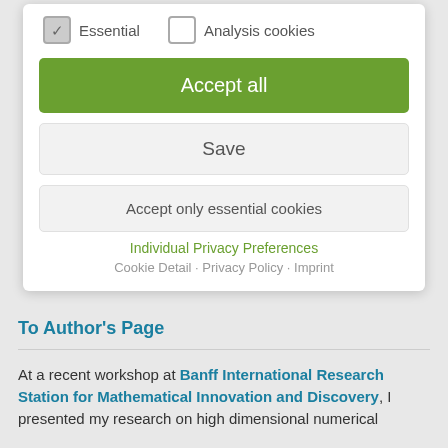[Figure (screenshot): Cookie consent modal dialog with checkbox options for Essential and Analysis cookies, Accept all button (green), Save button, Accept only essential cookies button, Individual Privacy Preferences link, and a partially visible Cookie Detail/Privacy Policy link.]
To Author's Page
At a recent workshop at Banff International Research Station for Mathematical Innovation and Discovery, I presented my research on high dimensional numerical